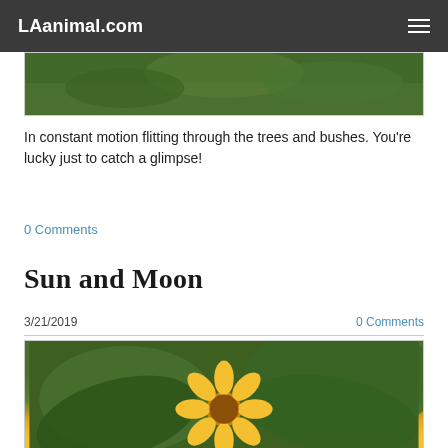LAanimal.com
[Figure (photo): Close-up photo of an animal or bird among green trees and bushes, cropped at top]
In constant motion flitting through the trees and bushes. You're lucky just to catch a glimpse!
0 Comments
Sun and Moon
3/21/2019	0 Comments
[Figure (photo): Close-up photo of a yellow sunflower with green leaves in the background]